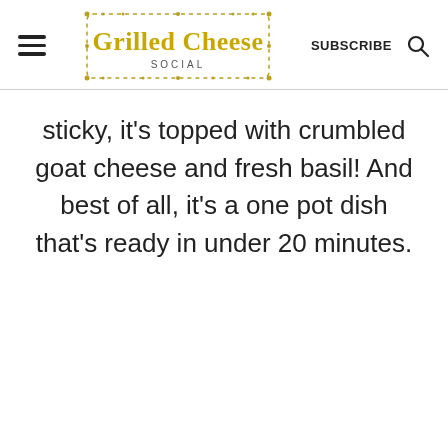Grilled Cheese Social — SUBSCRIBE
sticky, it's topped with crumbled goat cheese and fresh basil! And best of all, it's a one pot dish that's ready in under 20 minutes.